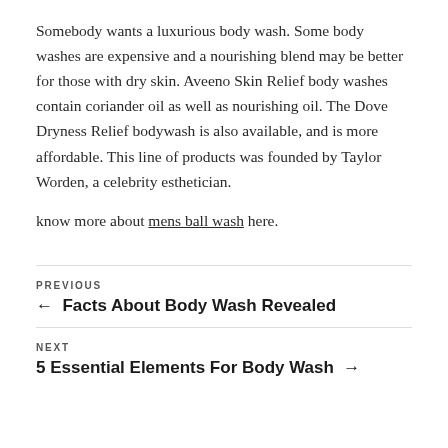Somebody wants a luxurious body wash. Some body washes are expensive and a nourishing blend may be better for those with dry skin. Aveeno Skin Relief body washes contain coriander oil as well as nourishing oil. The Dove Dryness Relief bodywash is also available, and is more affordable. This line of products was founded by Taylor Worden, a celebrity esthetician.
know more about mens ball wash here.
PREVIOUS
← Facts About Body Wash Revealed
NEXT
5 Essential Elements For Body Wash →